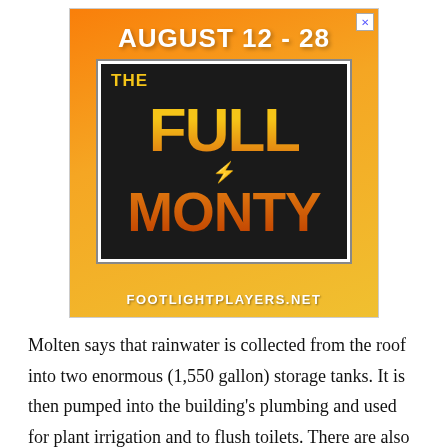[Figure (illustration): Advertisement for 'The Full Monty' theater production at Footlight Players. Shows a person holding a sign with the show title. Text reads: AUGUST 12 - 28, THE FULL MONTY, FOOTLIGHTPLAYERS.NET. Orange/yellow background.]
Molten says that rainwater is collected from the roof into two enormous (1,550 gallon) storage tanks. It is then pumped into the building's plumbing and used for plant irrigation and to flush toilets. There are also low-flow showers and sinks